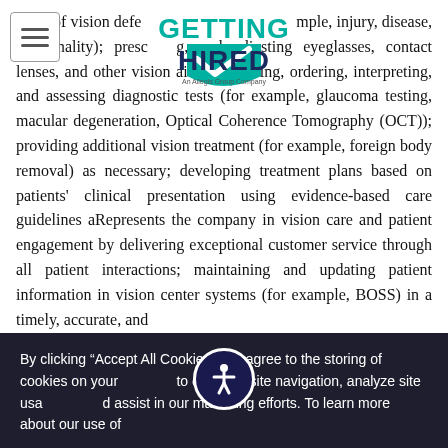[Figure (logo): Getting Hired logo - An Allegis Group Company]
signs of vision defects (for example, injury, disease, abnormality); prescribing, and adjusting eyeglasses, contact lenses, and other vision aids; suggesting, ordering, interpreting, and assessing diagnostic tests (for example, glaucoma testing, macular degeneration, Optical Coherence Tomography (OCT)); providing additional vision treatment (for example, foreign body removal) as necessary; developing treatment plans based on patients' clinical presentation using evidence-based care guidelines aRepresents the company in vision care and patient engagement by delivering exceptional customer service through all patient interactions; maintaining and updating patient information in vision center systems (for example, BOSS) in a timely, accurate, and
By clicking “Accept All Cookies” you agree to the storing of cookies on your device to enhance site navigation, analyze site usage, and assist in our marketing efforts. To learn more about our use of